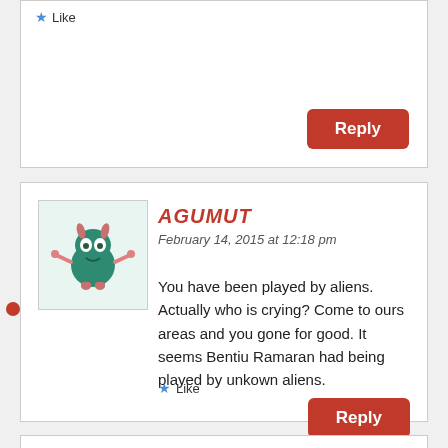[Figure (other): Like button with star icon at top of page (partial comment box)]
Reply
[Figure (illustration): Cartoon alien avatar with teal/green body, pink arms, and horns]
AGUMUT
February 14, 2015 at 12:18 pm
You have been played by aliens. Actually who is crying? Come to ours areas and you gone for good. It seems Bentiu Ramaran had being played by unkown aliens.
Like
Reply